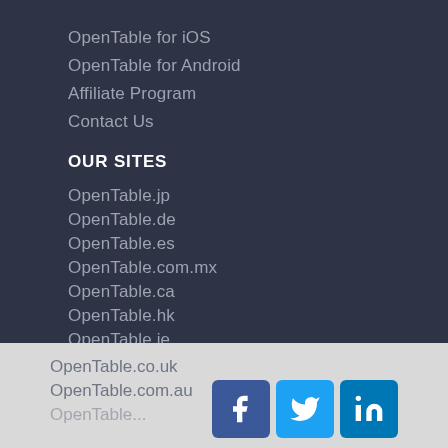OpenTable for iOS
OpenTable for Android
Affiliate Program
Contact Us
OUR SITES
OpenTable.jp
OpenTable.de
OpenTable.es
OpenTable.com.mx
OpenTable.ca
OpenTable.hk
OpenTable.ie
OpenTable.sg
OpenTable.nl
OpenTable.co.uk
OpenTable.com.au
[Figure (logo): Social media icons: Facebook, Twitter, LinkedIn]